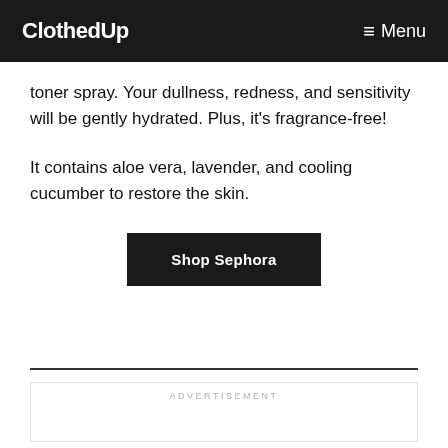ClothedUp  ≡ Menu
toner spray. Your dullness, redness, and sensitivity will be gently hydrated. Plus, it’s fragrance-free!
It contains aloe vera, lavender, and cooling cucumber to restore the skin.
Shop Sephora
ADVERTISEMENT